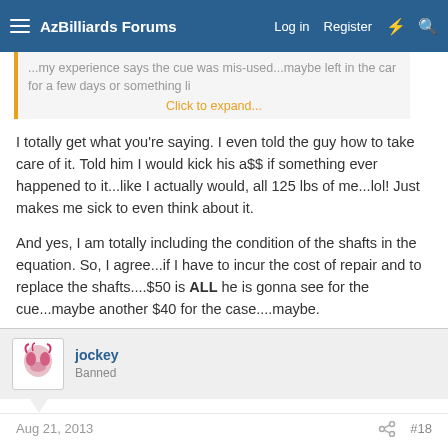AzBilliards Forums  Log in  Register
...my experience says the cue was mis-used...maybe left in the car for a few days or something li... Click to expand...
I totally get what you're saying. I even told the guy how to take care of it. Told him I would kick his a$$ if something ever happened to it...like I actually would, all 125 lbs of me...lol! Just makes me sick to even think about it.

And yes, I am totally including the condition of the shafts in the equation. So, I agree...if I have to incur the cost of repair and to replace the shafts....$50 is ALL he is gonna see for the cue...maybe another $40 for the case....maybe.
jockey
Banned
Aug 21, 2013  #18